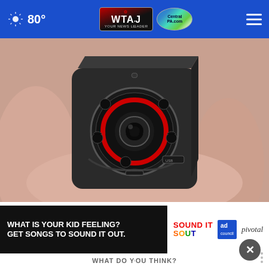80° WTAJ CentralPA.com
[Figure (photo): Close-up of a tiny dark metallic spy camera cube being held between fingers, with a circular lens surrounded by IR LEDs in the center]
Here Are 50 of the Coolest Gifts for This 2022
Smart Lifestyle Trends
[Figure (infographic): Advertisement banner: 'WHAT IS YOUR KID FEELING? GET SONGS TO SOUND IT OUT.' with Sound It Out and ad council/pivotal logos]
WHAT DO YOU THINK?